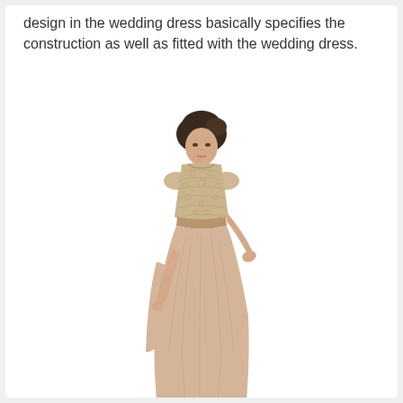design in the wedding dress basically specifies the construction as well as fitted with the wedding dress.
[Figure (photo): A woman wearing a full-length formal gown with a lace cap-sleeve bodice in champagne/blush tone and a flowing chiffon skirt, standing against a white background.]